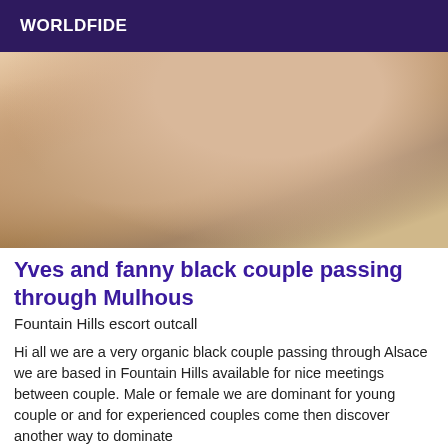WORLDFIDE
[Figure (photo): Close-up photo of a person's lower body in high heels on a wooden floor near a white baseboard/wall corner.]
Yves and fanny black couple passing through Mulhous
Fountain Hills escort outcall
Hi all we are a very organic black couple passing through Alsace we are based in Fountain Hills available for nice meetings between couple. Male or female we are dominant for young couple or and for experienced couples come then discover another way to dominate